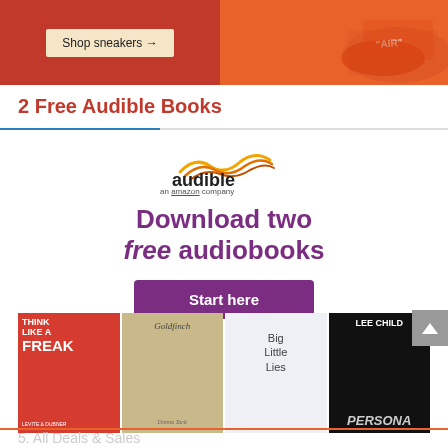[Figure (screenshot): Advertisement banner for sneakers with orange/red background and 'Shop sneakers →' button and AIR branded shoe image]
2 Free Audible Books
[Figure (screenshot): Audible advertisement with logo, 'Download two free audiobooks' text, 'Start here' button, and book cover images including Think Like a Freak, The Goldfinch, Big Little Lies, and a Lee Child book]